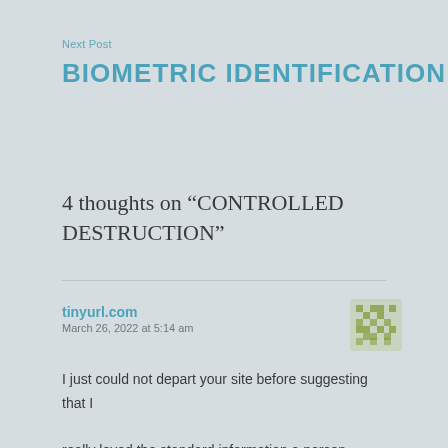Next Post
BIOMETRIC IDENTIFICATION
4 thoughts on “CONTROLLED DESTRUCTION”
tinyurl.com
March 26, 2022 at 5:14 am
I just could not depart your site before suggesting that I

really loved the standard information a person provide